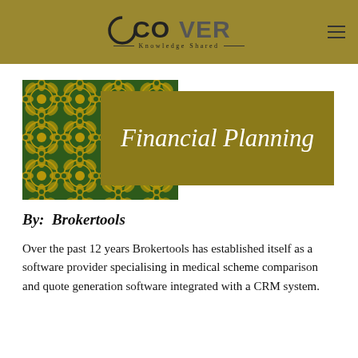COVER Knowledge Shared
[Figure (illustration): Banner image with green and gold mandala/geometric pattern on the left, overlaid by a gold rectangle on the right containing the italic text 'Financial Planning' in white script.]
By: Brokertools
Over the past 12 years Brokertools has established itself as a software provider specialising in medical scheme comparison and quote generation software integrated with a CRM system.